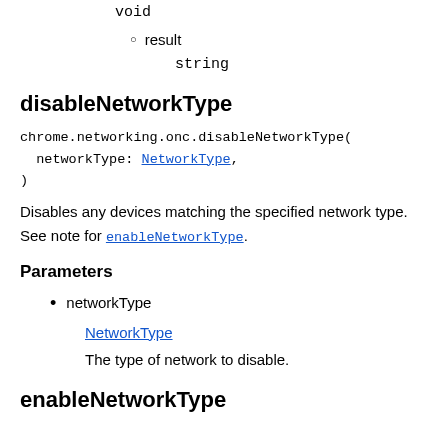void
result
string
disableNetworkType
chrome.networking.onc.disableNetworkType(
  networkType: NetworkType,
)
Disables any devices matching the specified network type. See note for enableNetworkType.
Parameters
networkType
NetworkType
The type of network to disable.
enableNetworkType